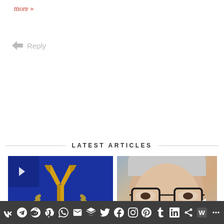more »
↳ Reply
LATEST ARTICLES
[Figure (screenshot): Article card for 'Inside Today's National Alliance' with blue background and gold Y symbol logo, tagged ESSAYS · REPORTS]
[Figure (photo): Article card for 'Attacking Hat...' by Douglas Mercer, showing a close-up of an elderly man's face with glasses, tagged DOUGLAS MERCER · ESS OPINION]
Social sharing bar with icons: VK, Telegram, Reddit, WordPress, WhatsApp, Email, Buffer, Twitter, Facebook, Instagram, Pinterest, Tumblr, LinkedIn, Share, Webtoon, More